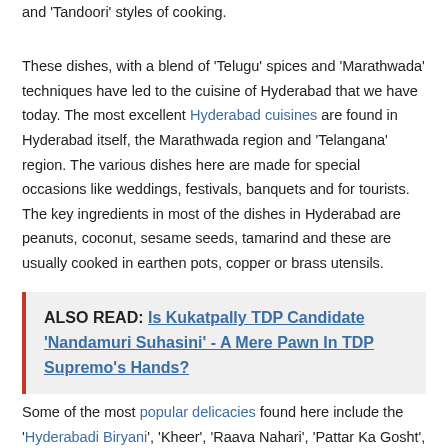and 'Tandoori' styles of cooking.
These dishes, with a blend of 'Telugu' spices and 'Marathwada' techniques have led to the cuisine of Hyderabad that we have today. The most excellent Hyderabad cuisines are found in Hyderabad itself, the Marathwada region and 'Telangana' region. The various dishes here are made for special occasions like weddings, festivals, banquets and for tourists. The key ingredients in most of the dishes in Hyderabad are peanuts, coconut, sesame seeds, tamarind and these are usually cooked in earthen pots, copper or brass utensils.
ALSO READ: Is Kukatpally TDP Candidate 'Nandamuri Suhasini' - A Mere Pawn In TDP Supremo's Hands?
Some of the most popular delicacies found here include the 'Hyderabadi Biryani', 'Kheer', 'Raava Nahari', 'Pattar Ka Gosht', 'Khubani-ka-Meetha'